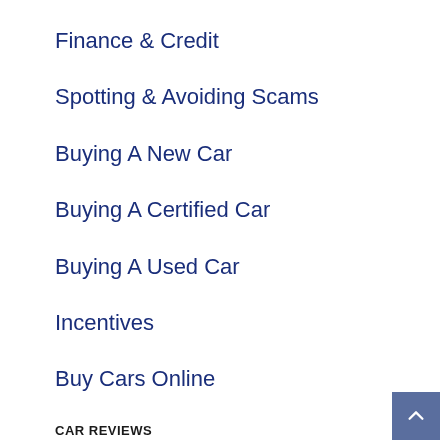Finance & Credit
Spotting & Avoiding Scams
Buying A New Car
Buying A Certified Car
Buying A Used Car
Incentives
Buy Cars Online
CAR REVIEWS
Video Reviews